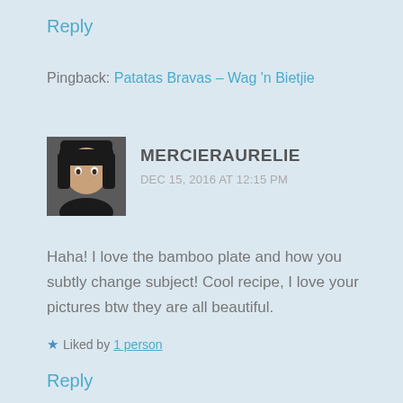Reply
Pingback: Patatas Bravas – Wag 'n Bietjie
MERCIERAURELIE
DEC 15, 2016 AT 12:15 PM
Haha! I love the bamboo plate and how you subtly change subject! Cool recipe, I love your pictures btw they are all beautiful.
Liked by 1 person
Reply
LA CUISINE D'ELI